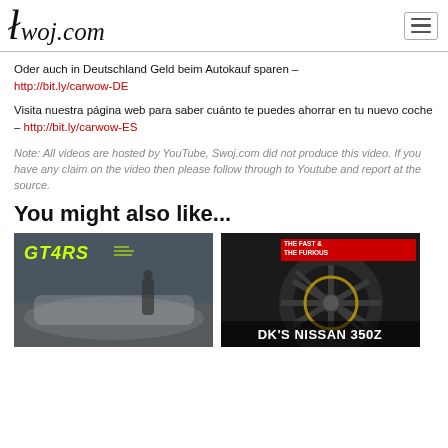swoj.com
Oder auch in Deutschland Geld beim Autokauf sparen – http://bit.ly/carwow-DE
Visita nuestra página web para saber cuánto te puedes ahorrar en tu nuevo coche – http://bit.ly/carwow-ES
Note: All videos are hosted by YouTube, Swoj.com did not produce this video. If you have any claim on the video then please follow through to Youtube and report at the source.
You might also like...
[Figure (photo): Car thumbnail: GT4RS Porsche with person standing next to it]
[Figure (photo): Car thumbnail: DK's Nissan 350Z from Fast and Furious]